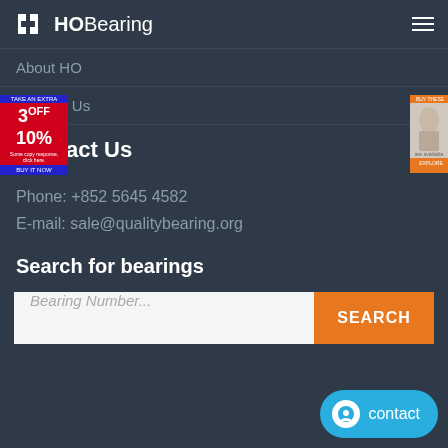HOBearing
About HO
Contact Us
Contact Us
Phone: +852 5645 4582
E-mail: sale@qualitybearing.org
Search for bearings
Bearing Number...
SEARCH
contact